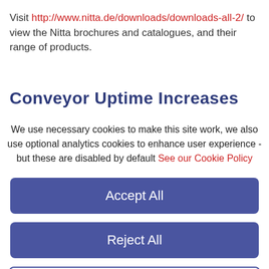Visit http://www.nitta.de/downloads/downloads-all-2/ to view the Nitta brochures and catalogues, and their range of products.
Conveyor Uptime Increases
We use necessary cookies to make this site work, we also use optional analytics cookies to enhance user experience - but these are disabled by default See our Cookie Policy
Accept All
Reject All
Settings